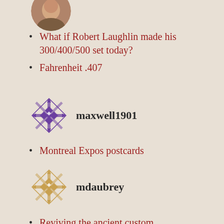[Figure (photo): Partial circular avatar photo of a person, cropped at top of page]
What if Robert Laughlin made his 300/400/500 set today?
Fahrenheit .407
[Figure (illustration): Purple/dark geometric snowflake/quilt pattern avatar for maxwell1901]
maxwell1901
Montreal Expos postcards
[Figure (illustration): Gold/tan geometric snowflake/quilt pattern avatar for mdaubrey]
mdaubrey
Reviving the ancient custom
Absolutely Free! The players of the T206 Sporting Life ads.
[Figure (photo): Partial circular avatar photo of a person, cropped at bottom of page]